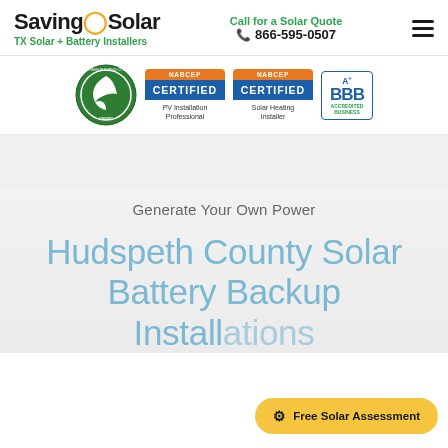SavingOnSolar — TX Solar + Battery Installers | Call for a Solar Quote 866-595-0507
[Figure (logo): U.S. Green Building Council USGBC circular green seal logo]
[Figure (logo): NABCEP Certified PV Installation Professional orange and blue badge]
[Figure (logo): NABCEP Certified Solar Heating Installer orange and blue badge]
[Figure (logo): BBB Accredited Business A+ rating badge blue and green]
Generate Your Own Power
Hudspeth County Solar Battery Backup Installations
Free Solar Assessment